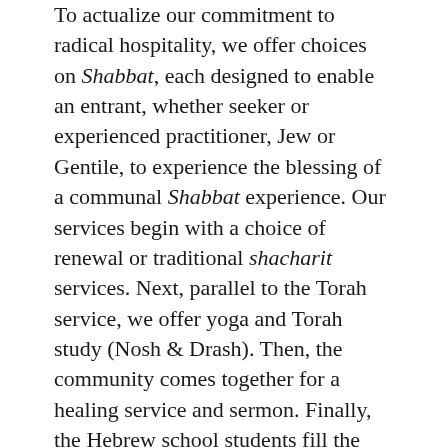To actualize our commitment to radical hospitality, we offer choices on Shabbat, each designed to enable an entrant, whether seeker or experienced practitioner, Jew or Gentile, to experience the blessing of a communal Shabbat experience. Our services begin with a choice of renewal or traditional shacharit services. Next, parallel to the Torah service, we offer yoga and Torah study (Nosh & Drash). Then, the community comes together for a healing service and sermon. Finally, the Hebrew school students fill the sanctuary for our closing Ruach Rally, an upbeat medley of Jewish songs to conclude the service. Afterwards, individuals and families break bread at the kiddush luncheon featuring a yogurt bar, salad bar, and typical bagel fare.
Throughout the morning we host a Shabbat cafe, transforming our lobby into a casual meet-up area with